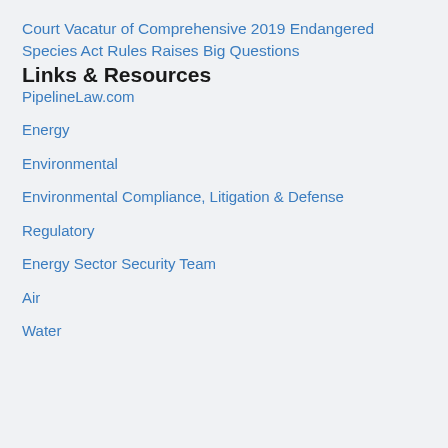Court Vacatur of Comprehensive 2019 Endangered Species Act Rules Raises Big Questions
Links & Resources
PipelineLaw.com
Energy
Environmental
Environmental Compliance, Litigation & Defense
Regulatory
Energy Sector Security Team
Air
Water